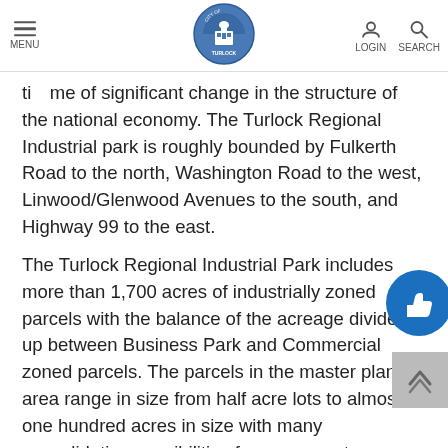MENU | TURLOCK (logo) | LOGIN | SEARCH
time of significant change in the structure of the national economy. The Turlock Regional Industrial park is roughly bounded by Fulkerth Road to the north, Washington Road to the west, Linwood/Glenwood Avenues to the south, and Highway 99 to the east.
The Turlock Regional Industrial Park includes more than 1,700 acres of industrially zoned parcels with the balance of the acreage divided up between Business Park and Commercial zoned parcels. The parcels in the master plan area range in size from half acre lots to almost one hundred acres in size with many consolidation possibilities for even greater acreage. In addition to its advantageous location near Highway 99, the City of Turlock through its former redevelopment agency has invested more than $14 million in the construction of the water and sewer backbone infrastructure to make large parcels of the Regional park buildable and allow...